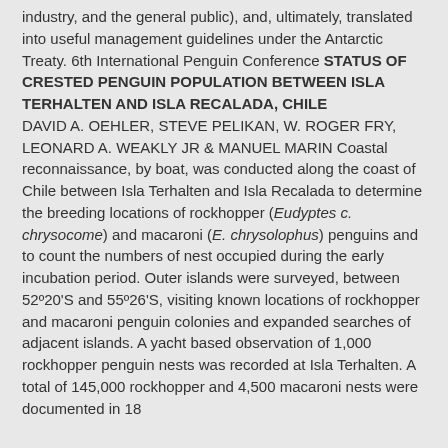industry, and the general public), and, ultimately, translated into useful management guidelines under the Antarctic Treaty. 6th International Penguin Conference STATUS OF CRESTED PENGUIN POPULATION BETWEEN ISLA TERHALTEN AND ISLA RECALADA, CHILE DAVID A. OEHLER, STEVE PELIKAN, W. ROGER FRY, LEONARD A. WEAKLY JR & MANUEL MARIN Coastal reconnaissance, by boat, was conducted along the coast of Chile between Isla Terhalten and Isla Recalada to determine the breeding locations of rockhopper (Eudyptes c. chrysocome) and macaroni (E. chrysolophus) penguins and to count the numbers of nest occupied during the early incubation period. Outer islands were surveyed, between 52º20'S and 55º26'S, visiting known locations of rockhopper and macaroni penguin colonies and expanded searches of adjacent islands. A yacht based observation of 1,000 rockhopper penguin nests was recorded at Isla Terhalten. A total of 145,000 rockhopper and 4,500 macaroni nests were documented in 18